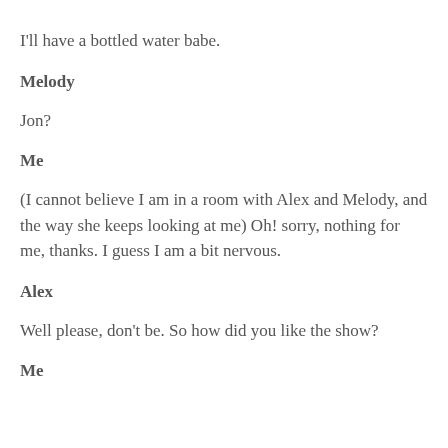I'll have a bottled water babe.
Melody
Jon?
Me
(I cannot believe I am in a room with Alex and Melody, and the way she keeps looking at me) Oh! sorry, nothing for me, thanks. I guess I am a bit nervous.
Alex
Well please, don't be. So how did you like the show?
Me